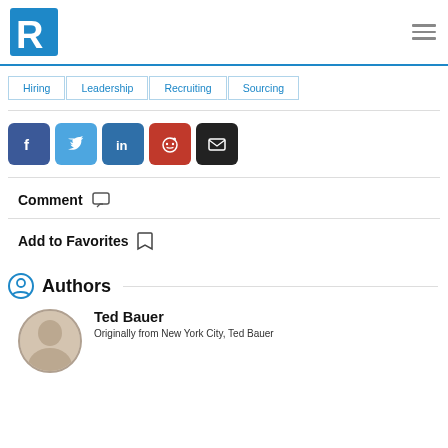[Figure (logo): Blue R logo for Recruiting/HR website]
Hiring
Leadership
Recruiting
Sourcing
[Figure (infographic): Social share buttons: Facebook, Twitter, LinkedIn, Reddit, Email]
Comment
Add to Favorites
Authors
Ted Bauer
Originally from New York City, Ted Bauer